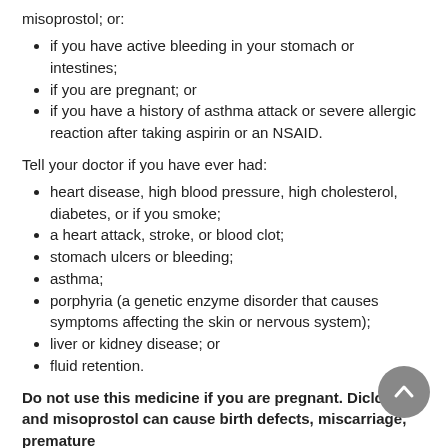misoprostol; or:
if you have active bleeding in your stomach or intestines;
if you are pregnant; or
if you have a history of asthma attack or severe allergic reaction after taking aspirin or an NSAID.
Tell your doctor if you have ever had:
heart disease, high blood pressure, high cholesterol, diabetes, or if you smoke;
a heart attack, stroke, or blood clot;
stomach ulcers or bleeding;
asthma;
porphyria (a genetic enzyme disorder that causes symptoms affecting the skin or nervous system);
liver or kidney disease; or
fluid retention.
Do not use this medicine if you are pregnant. Diclofenac and misoprostol can cause birth defects, miscarriage, premature